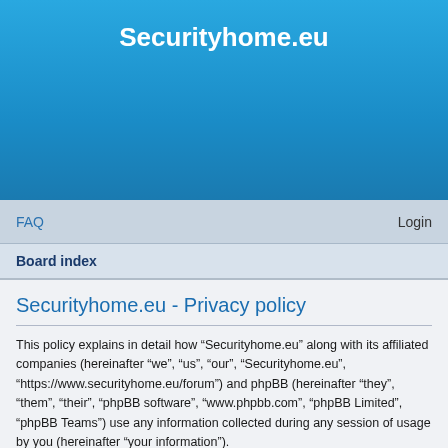Securityhome.eu
FAQ   Login
Board index
Securityhome.eu - Privacy policy
This policy explains in detail how “Securityhome.eu” along with its affiliated companies (hereinafter “we”, “us”, “our”, “Securityhome.eu”, “https://www.securityhome.eu/forum”) and phpBB (hereinafter “they”, “them”, “their”, “phpBB software”, “www.phpbb.com”, “phpBB Limited”, “phpBB Teams”) use any information collected during any session of usage by you (hereinafter “your information”).
Your information is collected via two ways. Firstly, by browsing “Securityhome.eu” will cause the phpBB software to create a number of cookies,